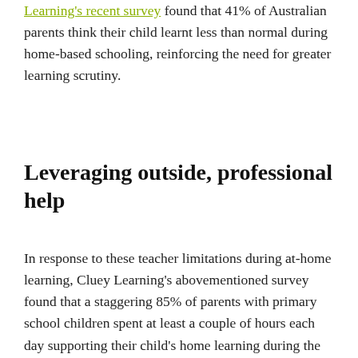Learning's recent survey found that 41% of Australian parents think their child learnt less than normal during home-based schooling, reinforcing the need for greater learning scrutiny.
Leveraging outside, professional help
In response to these teacher limitations during at-home learning, Cluey Learning's abovementioned survey found that a staggering 85% of parents with primary school children spent at least a couple of hours each day supporting their child's home learning during the April-May lockdowns of 2020. Although schools have reopened for the most part, you may still be dedicating time to provide tutoring for your child in areas they're struggling with. In addition to the time burden, some parents